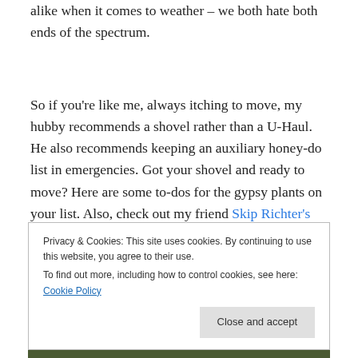alike when it comes to weather – we both hate both ends of the spectrum.
So if you're like me, always itching to move, my hubby recommends a shovel rather than a U-Haul. He also recommends keeping an auxiliary honey-do list in emergencies. Got your shovel and ready to move? Here are some to-dos for the gypsy plants on your list. Also, check out my friend Skip Richter's YouTube on digging up the root ball.
Privacy & Cookies: This site uses cookies. By continuing to use this website, you agree to their use. To find out more, including how to control cookies, see here: Cookie Policy
[Figure (photo): Bottom strip showing a photo with green 'marked' text label overlay]